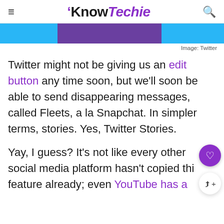KnowTechie
[Figure (screenshot): Banner image strip with blue and purple sections, partial screenshot of a Twitter-related image]
Image: Twitter
Twitter might not be giving us an edit button any time soon, but we'll soon be able to send disappearing messages, called Fleets, a la Snapchat. In simpler terms, stories. Yes, Twitter Stories.
Yay, I guess? It's not like every other social media platform hasn't copied this feature already; even YouTube has a